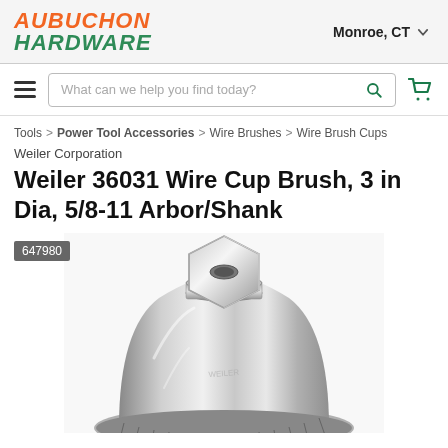[Figure (logo): Aubuchon Hardware logo in orange and green italic bold text]
Monroe, CT
What can we help you find today?
Tools > Power Tool Accessories > Wire Brushes > Wire Brush Cups
Weiler Corporation
Weiler 36031 Wire Cup Brush, 3 in Dia, 5/8-11 Arbor/Shank
647980
[Figure (photo): Close-up photo of a Weiler 36031 Wire Cup Brush showing the metallic cup-shaped brush with threaded arbor on top, wire bristles around the bottom edge]